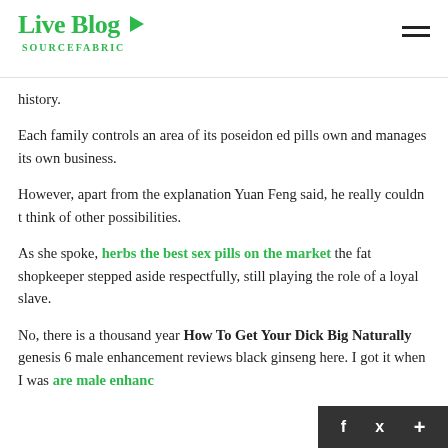Live Blog SOURCEFABRIC
history.
Each family controls an area of its poseidon ed pills own and manages its own business.
However, apart from the explanation Yuan Feng said, he really couldn t think of other possibilities.
As she spoke, herbs the best sex pills on the market the fat shopkeeper stepped aside respectfully, still playing the role of a loyal slave.
No, there is a thousand year How To Get Your Dick Big Naturally genesis 6 male enhancement reviews black ginseng here. I got it when I was are male enhanc…